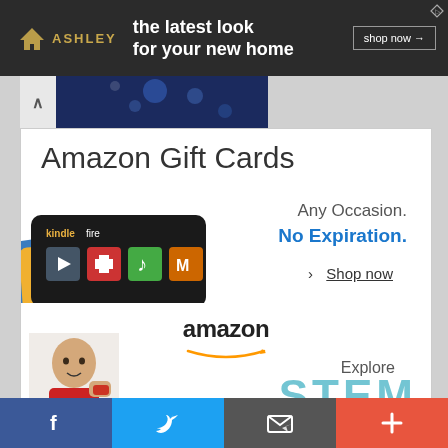[Figure (infographic): Ashley Furniture banner advertisement with logo, tagline 'the latest look for your new home', and 'shop now' button on dark background]
[Figure (photo): Partial photo strip showing dark blue bokeh background, with upward chevron arrow on the left]
[Figure (infographic): Amazon Gift Cards advertisement showing a Kindle Fire gift card with app icons, text 'Amazon Gift Cards', 'Any Occasion.', 'No Expiration.', and '> Shop now']
[Figure (infographic): Amazon advertisement with Amazon logo and smile, a child photo, text 'Explore' and large 'STEM' in teal letters]
[Figure (infographic): Social sharing bar at the bottom with four sections: Facebook (blue, f icon), Twitter (light blue, bird icon), Email/share (dark grey, envelope icon), and Plus/more (coral red, + icon)]